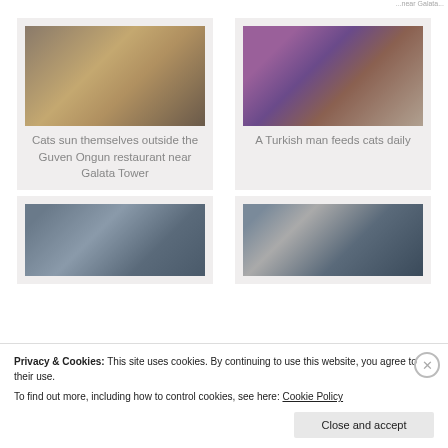...near Galata...
[Figure (photo): Cats sunning themselves outside the Guven Ongun restaurant near Galata Tower — a golden cat and a dark cat near ornate metal chairs]
Cats sun themselves outside the Guven Ongun restaurant near Galata Tower
[Figure (photo): A Turkish man crouching and feeding multiple cats near a graffiti wall with a red column]
A Turkish man feeds cats daily
[Figure (photo): Several cats resting inside what appears to be a covered space with decorative walls]
[Figure (photo): A man in a blue hat sitting outdoors in a busy street scene with a white car in the background]
Privacy & Cookies: This site uses cookies. By continuing to use this website, you agree to their use.
To find out more, including how to control cookies, see here: Cookie Policy
Close and accept